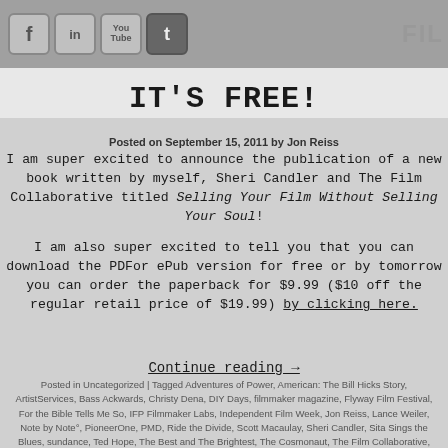Social media icons (Facebook, LinkedIn, YouTube, Twitter) and FIL header text
IT'S FREE!
Posted on September 15, 2011 by Jon Reiss
I am super excited to announce the publication of a new book written by myself, Sheri Candler and The Film Collaborative titled Selling Your Film Without Selling Your Soul!
I am also super excited to tell you that you can download the PDFor ePub version for free or by tomorrow you can order the paperback for $9.99 ($10 off the regular retail price of $19.99) by clicking here.
Continue reading →
Posted in Uncategorized | Tagged Adventures of Power, American: The Bill Hicks Story, ArtistServices, Bass Ackwards, Christy Dena, DIY Days, filmmaker magazine, Flyway Film Festival, For the Bible Tells Me So, IFP Filmmaker Labs, Independent Film Week, Jon Reiss, Lance Weiler, Note by Note°, PioneerOne, PMD, Ride the Divide, Scott Macaulay, Sheri Candler, Sita Sings the Blues, sundance, Ted Hope, The Best and The Brightest, The Cosmonaut, The Film Collaborative, Tiffany Shlain, Undertow | Leave a comment